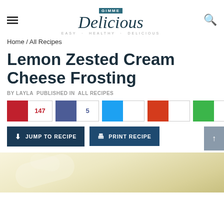Gimme Delicious — EASY · HEALTHY · DELICIOUS
Home / All Recipes
Lemon Zested Cream Cheese Frosting
BY LAYLA PUBLISHED IN ALL RECIPES
[Figure (infographic): Social sharing buttons: Pinterest (147), Facebook (5), Twitter, MSO, Yummly]
[Figure (infographic): Action buttons: JUMP TO RECIPE, PRINT RECIPE, scroll-to-top arrow]
[Figure (photo): Partial photo of cream cheese frosting at bottom of page]